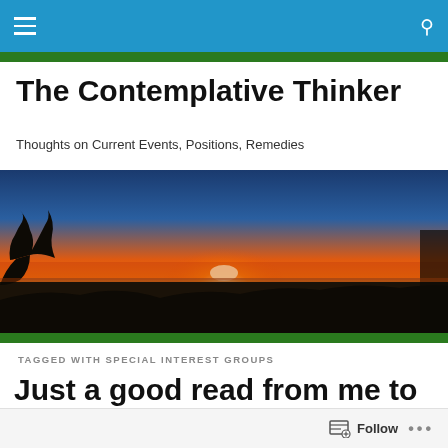Navigation bar with menu and search icons
The Contemplative Thinker
Thoughts on Current Events, Positions, Remedies
[Figure (photo): A wide panoramic sunset photo showing an orange and red sky with the sun on the horizon, silhouetted trees and landscape in the foreground.]
TAGGED WITH SPECIAL INTEREST GROUPS
Just a good read from me to you…No quiz involved
Follow